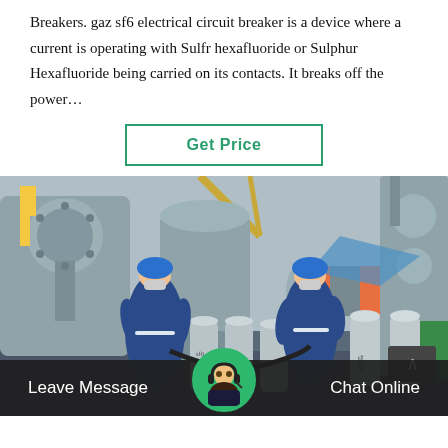Breakers. gaz sf6 electrical circuit breaker is a device where a current is operating with Sulfr hexafluoride or Sulphur Hexafluoride being carried on its contacts. It breaks off the power…
Get Price
[Figure (photo): Two workers in blue coveralls and blue hard hats working with SF6 gas cylinders and large industrial electrical equipment (circuit breakers/switchgear) outdoors. Several gray SF6 gas cylinders visible, large machinery with orange-banded pipes in background, industrial tower visible at upper right.]
Leave Message
Chat Online